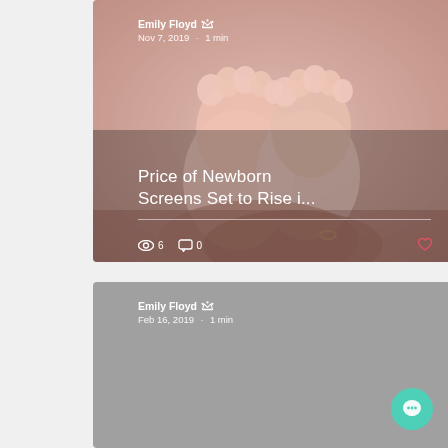[Figure (photo): Blog post card showing baby feet held in adult hands, with article title overlay. Author: Emily Floyd, Nov 7, 2019, 1 min read. Title: Price of Newborn Screens Set to Rise i... Stats: 6 views, 0 comments, heart icon.]
[Figure (photo): Blog post card with gray background. Author: Emily Floyd, Feb 16, 2019, 1 min read. Chat bubble button in bottom right corner.]